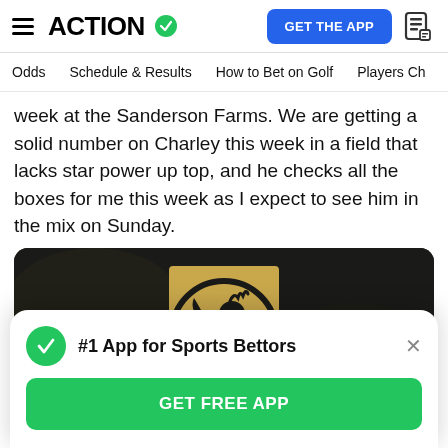ACTION (with checkmark badge) | GET THE APP button | document icon
Odds | Schedule & Results | How to Bet on Golf | Players Ch
week at the Sanderson Farms. We are getting a solid number on Charley this week in a field that lacks star power up top, and he checks all the boxes for me this week as I expect to see him in the mix on Sunday.
[Figure (photo): Dark background image with a golden/black Sanderson Farms logo featuring a rooster in a circular design on a gold rectangle]
#1 App for Sports Bettors | GET FREE APP